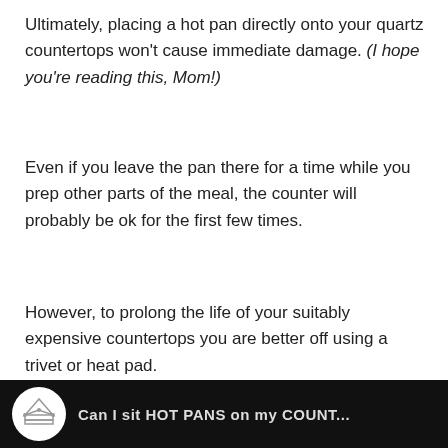Ultimately, placing a hot pan directly onto your quartz countertops won't cause immediate damage. (I hope you're reading this, Mom!)
Even if you leave the pan there for a time while you prep other parts of the meal, the counter will probably be ok for the first few times.
However, to prolong the life of your suitably expensive countertops you are better off using a trivet or heat pad.
Repeated exposure to heat can break down the resin and cause discoloration.
[Figure (other): Black banner at the bottom with a white crown logo circle and partial text reading 'Can I sit HOT PANS on my COUNT...']